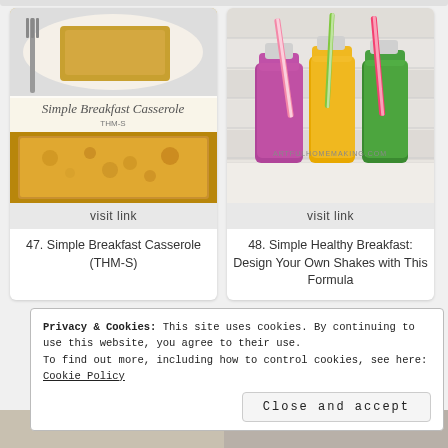[Figure (photo): Image of Simple Breakfast Casserole food dish with a fork, showing baked casserole with text overlay reading 'Simple Breakfast Casserole THM-S']
visit link
47. Simple Breakfast Casserole (THM-S)
[Figure (photo): Photo of three colorful smoothie/juice bottles (purple, yellow, green) with striped pink/green straws, ARTFULHOMEMAKING.COM watermark]
visit link
48. Simple Healthy Breakfast: Design Your Own Shakes with This Formula
Privacy & Cookies: This site uses cookies. By continuing to use this website, you agree to their use.
To find out more, including how to control cookies, see here:
Cookie Policy
Close and accept